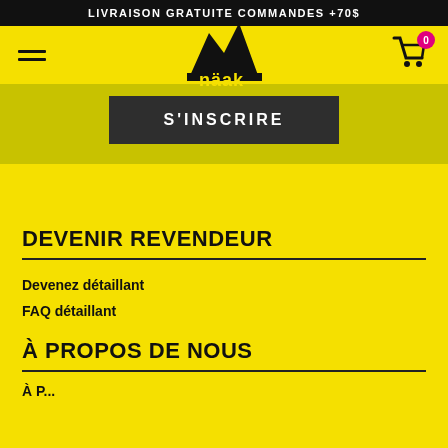LIVRAISON GRATUITE COMMANDES +70$
[Figure (logo): Näak mountain logo with hamburger menu and cart icon with badge showing 0]
[Figure (other): S'INSCRIRE button on dark background]
DEVENIR REVENDEUR
Devenez détaillant
FAQ détaillant
À PROPOS DE NOUS
À P...